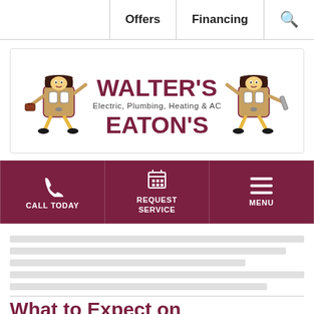Offers | Financing | Search
[Figure (logo): Walter's Eaton's Electric, Plumbing, Heating & AC logo with cartoon mascot characters on both sides]
CALL TODAY | REQUEST SERVICE | MENU
What to Expect on